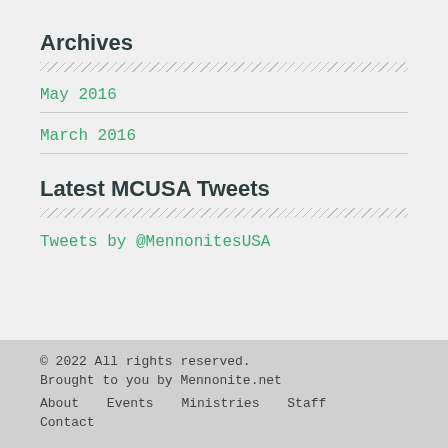Archives
May 2016
March 2016
Latest MCUSA Tweets
Tweets by @MennonitesUSA
© 2022 All rights reserved. Brought to you by Mennonite.net
About   Events   Ministries   Staff
Contact